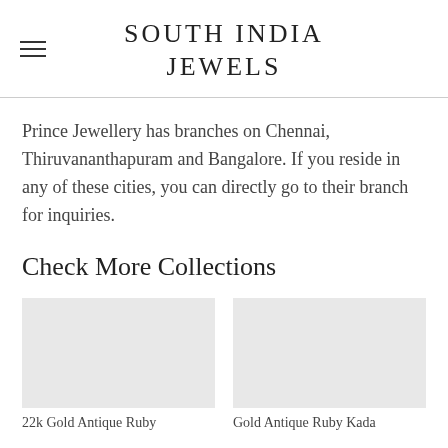SOUTH INDIA JEWELS
Prince Jewellery has branches on Chennai, Thiruvananthapuram and Bangalore. If you reside in any of these cities, you can directly go to their branch for inquiries.
Check More Collections
22k Gold Antique Ruby
Gold Antique Ruby Kada